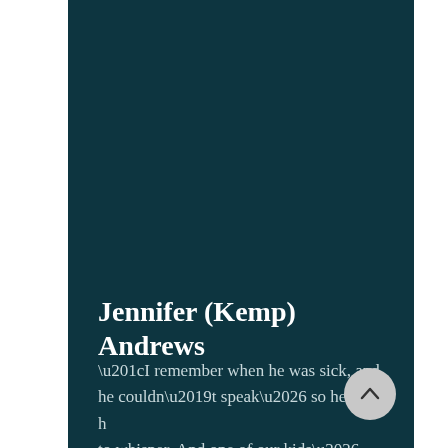Jennifer (Kemp) Andrews
“I remember when he was sick, and he couldn’t speak… so he would have to whisper. And one of our kids…